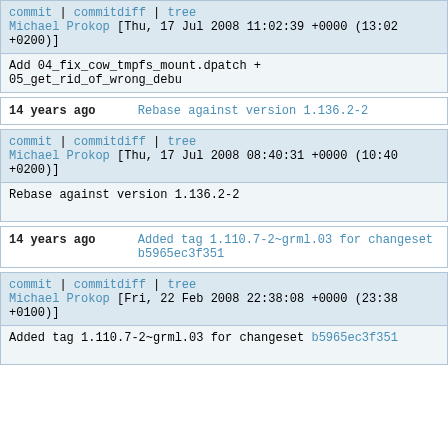commit | commitdiff | tree
Michael Prokop [Thu, 17 Jul 2008 11:02:39 +0000 (13:02 +0200)]
Add 04_fix_cow_tmpfs_mount.dpatch + 05_get_rid_of_wrong_debu
14 years ago    Rebase against version 1.136.2-2
commit | commitdiff | tree
Michael Prokop [Thu, 17 Jul 2008 08:40:31 +0000 (10:40 +0200)]
Rebase against version 1.136.2-2
14 years ago    Added tag 1.110.7-2~grml.03 for changeset b5965ec3f351
commit | commitdiff | tree
Michael Prokop [Fri, 22 Feb 2008 22:38:08 +0000 (23:38 +0100)]
Added tag 1.110.7-2~grml.03 for changeset b5965ec3f351